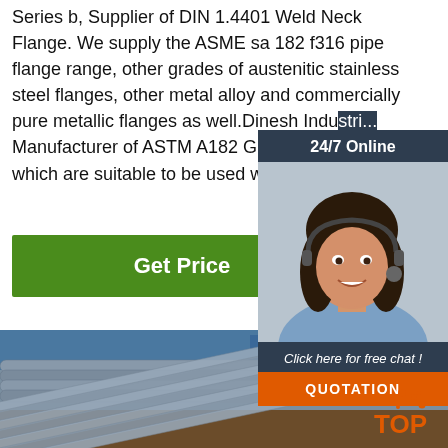Series b, Supplier of DIN 1.4401 Weld Neck Flange. We supply the ASME sa 182 f316 pipe flange range, other grades of austenitic stainless steel flanges, other metal alloy and commercially pure metallic flanges as well.Dinesh Indu... Manufacturer of ASTM A182 Gr F316 Fla... which are suitable to be used with …
Get Price
[Figure (photo): Stacked metallic pipes/tubes outdoors, industrial steel supply]
[Figure (infographic): 24/7 Online chat overlay panel with woman wearing headset, QUOTATION button, and TOP logo]